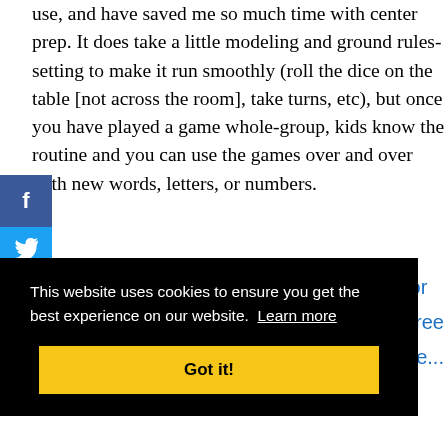use, and have saved me so much time with center prep. It does take a little modeling and ground rules-setting to make it run smoothly (roll the dice on the table [not across the room], take turns, etc), but once you have played a game whole-group, kids know the routine and you can use the games over and over with new words, letters, or numbers.
[Figure (screenshot): Cookie consent banner overlay with black background. Text reads: 'This website uses cookies to ensure you get the best experience on our website. Learn more' with a yellow 'Got it!' button. Partial blue link text visible on the right side.]